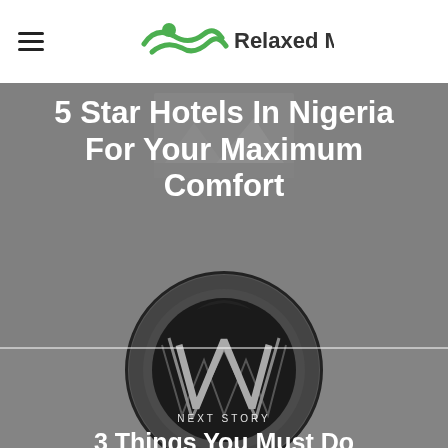Relaxed Mode
5 Star Hotels In Nigeria For Your Maximum Comfort
[Figure (screenshot): Gray background section with faded image placeholder showing a hotel photo thumbnail]
NEXT STORY
[Figure (logo): WordPress logo — large circular W emblem in dark/black on gray background]
3 Things You Must Do